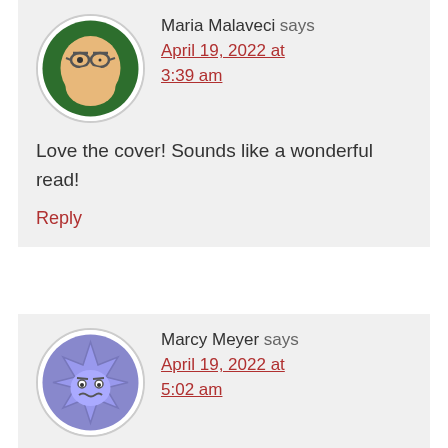Maria Malaveci says April 19, 2022 at 3:39 am
[Figure (illustration): Circular avatar with a cartoon Roblox-style face wearing glasses on a green background]
Love the cover! Sounds like a wonderful read!
Reply
Marcy Meyer says April 19, 2022 at 5:02 am
[Figure (illustration): Circular avatar with a purple cartoon star character with an angry/grumpy expression]
Love the cover.